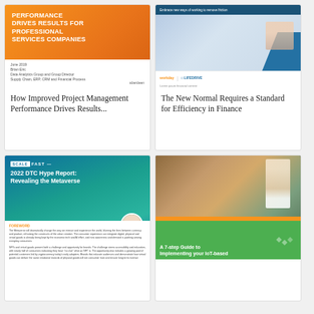[Figure (illustration): Thumbnail of a report cover with orange gradient background titled 'Performance Drives Results for Professional Services Companies' with white text, and a white lower section with small body text]
How Improved Project Management Performance Drives Results...
[Figure (illustration): Thumbnail of a report cover with dark blue top bar, photo of a person at a desk, blue geometric overlay, and Workday / LifeDrive logos]
The New Normal Requires a Standard for Efficiency in Finance
[Figure (illustration): Thumbnail of '2022 DTC Hype Report: Revealing the Metaverse' by Scalefast with teal/blue background, wave design, white foreword section with body text, and a circular headshot]
[Figure (illustration): Thumbnail of an Energy report with a photo of a woman with glasses at a laptop, green bottom section, orange stripe, and title 'A 7-step Guide to Implementing your IoT-based...' with download icon and Energy logo]